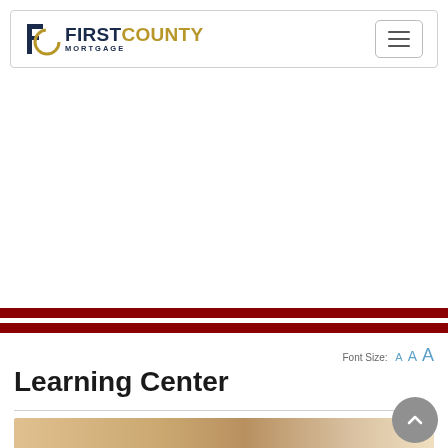[Figure (logo): First County Mortgage logo with stylized FC icon and text]
[Figure (other): Hamburger navigation menu button (three horizontal lines)]
[Figure (other): Double dark red horizontal rule divider]
Font Size: A A A
Learning Center
[Figure (photo): Partial photo visible at bottom of page, warm tones suggesting a home or person]